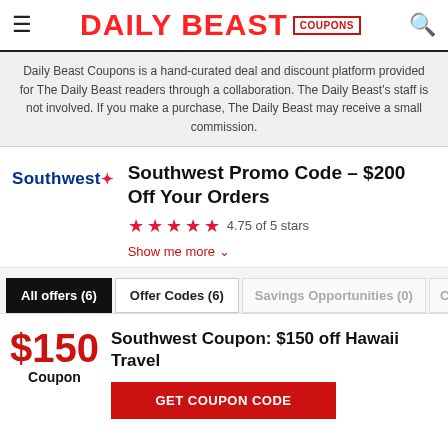≡ DAILY BEAST COUPONS 🔍
Daily Beast Coupons is a hand-curated deal and discount platform provided for The Daily Beast readers through a collaboration. The Daily Beast's staff is not involved. If you make a purchase, The Daily Beast may receive a small commission.
Southwest Promo Code – $200 Off Your Orders
4.75 of 5 stars
Show me more
All offers (6)  Offer Codes (6)  Savings Opportunities (0)  Cash Ba…
$150 Coupon – Southwest Coupon: $150 off Hawaii Travel – GET COUPON CODE